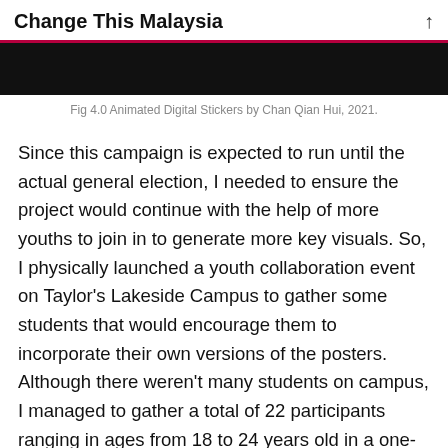Change This Malaysia
[Figure (photo): Dark/black image block at top of page, partially cropped]
Fig 4.0 Animated Digital Stickers by Chan Qian Hui, 2021.
Since this campaign is expected to run until the actual general election, I needed to ensure the project would continue with the help of more youths to join in to generate more key visuals. So, I physically launched a youth collaboration event on Taylor's Lakeside Campus to gather some students that would encourage them to incorporate their own versions of the posters. Although there weren't many students on campus, I managed to gather a total of 22 participants ranging in ages from 18 to 24 years old in a one-week time period.